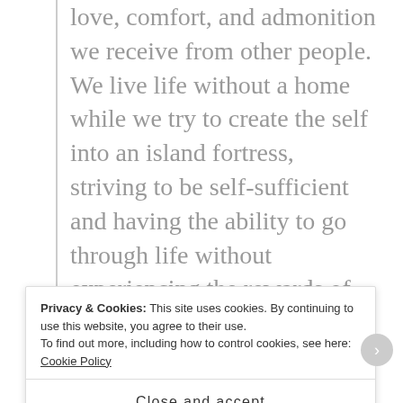love, comfort, and admonition we receive from other people. We live life without a home while we try to create the self into an island fortress, striving to be self-sufficient and having the ability to go through life without experiencing the rewards of fellowship and true friendship.
A deep-seeded fear drives us to succeed at all costs.
Overwhelmed, we begin to indulge in
Privacy & Cookies: This site uses cookies. By continuing to use this website, you agree to their use.
To find out more, including how to control cookies, see here: Cookie Policy
Close and accept